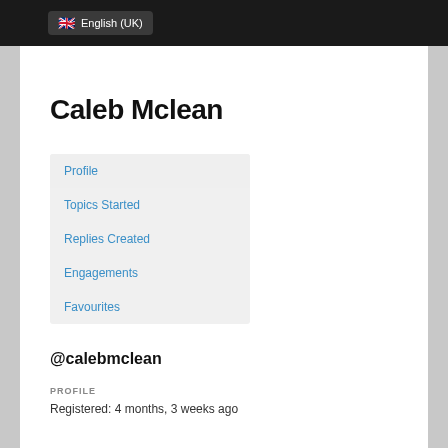English (UK)
Caleb Mclean
Profile
Topics Started
Replies Created
Engagements
Favourites
@calebmclean
PROFILE
Registered: 4 months, 3 weeks ago